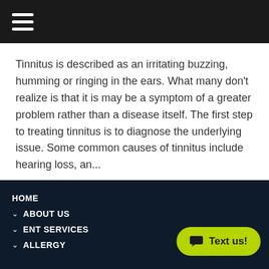Navigation menu header bar
Tinnitus is described as an irritating buzzing, humming or ringing in the ears. What many don't realize is that it is may be a symptom of a greater problem rather than a disease itself. The first step to treating tinnitus is to diagnose the underlying issue. Some common causes of tinnitus include hearing loss, an...
Read More
HOME
∨ ABOUT US
∨ ENT SERVICES
∨ ALLERGY
Text us!